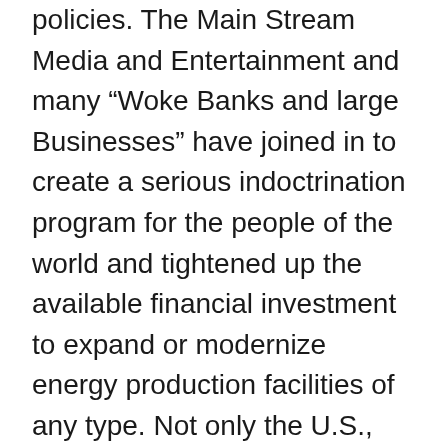policies. The Main Stream Media and Entertainment and many “Woke Banks and large Businesses” have joined in to create a serious indoctrination program for the people of the world and tightened up the available financial investment to expand or modernize energy production facilities of any type. Not only the U.S., but the Climate Policies of the world to attain Net Zero Carbon by 2050 now has much momentum. The purpose of this post is to simply lay out the facts of the energy needs of today for anyone living in the Developed World.